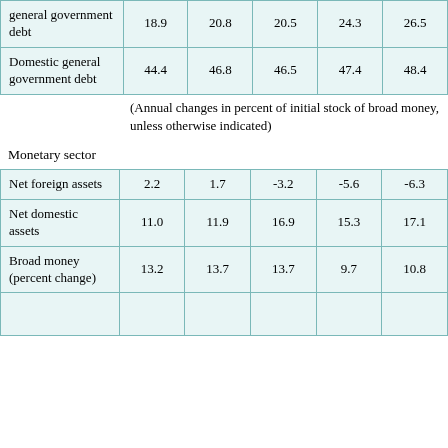|  |  |  |  |  |  |
| --- | --- | --- | --- | --- | --- |
| general government debt | 18.9 | 20.8 | 20.5 | 24.3 | 26.5 |
| Domestic general government debt | 44.4 | 46.8 | 46.5 | 47.4 | 48.4 |
(Annual changes in percent of initial stock of broad money, unless otherwise indicated)
Monetary sector
|  |  |  |  |  |  |
| --- | --- | --- | --- | --- | --- |
| Net foreign assets | 2.2 | 1.7 | -3.2 | -5.6 | -6.3 |
| Net domestic assets | 11.0 | 11.9 | 16.9 | 15.3 | 17.1 |
| Broad money (percent change) | 13.2 | 13.7 | 13.7 | 9.7 | 10.8 |